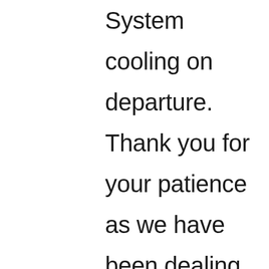System cooling on departure. Thank you for your patience as we have been dealing with equipment/part